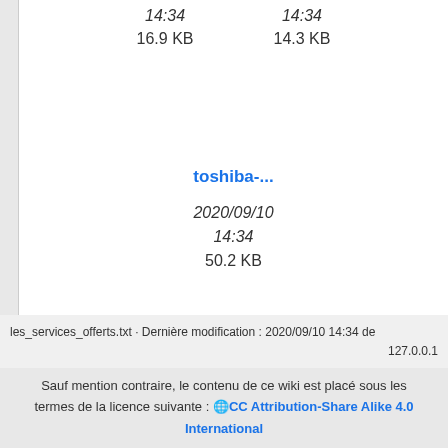14:34
16.9 KB
14:34
14.3 KB
toshiba-...
2020/09/10
14:34
50.2 KB
les_services_offerts.txt · Dernière modification : 2020/09/10 14:34 de 127.0.0.1
Sauf mention contraire, le contenu de ce wiki est placé sous les termes de la licence suivante : CC Attribution-Share Alike 4.0 International